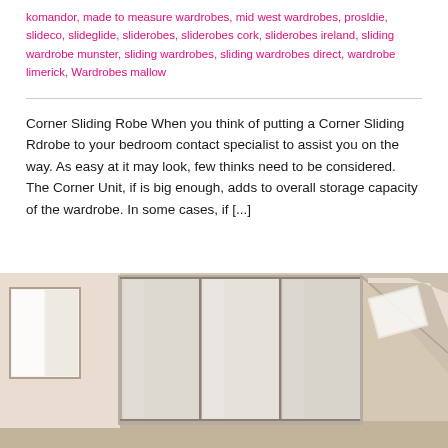komandor, made to measure wardrobes, mid west wardrobes, prosldie, slideco, slideglide, sliderobes, sliderobes cork, sliderobes ireland, sliding wardrobe munster, sliding wardrobes, sliding wardrobes direct, wardrobe limerick, Wardrobes mallow
Corner Sliding Robe When you think of putting a Corner Sliding Rdrobe to your bedroom contact specialist to assist you on the way. As easy at it may look, few thinks need to be considered. The Corner Unit, if is big enough, adds to overall storage capacity of the wardrobe. In some cases, if [...]
[Figure (photo): Interior room photo showing a built-in sliding wardrobe with mirrored/white panel doors in a slanted ceiling bedroom. The room has beige/cream walls and a window visible in the background.]